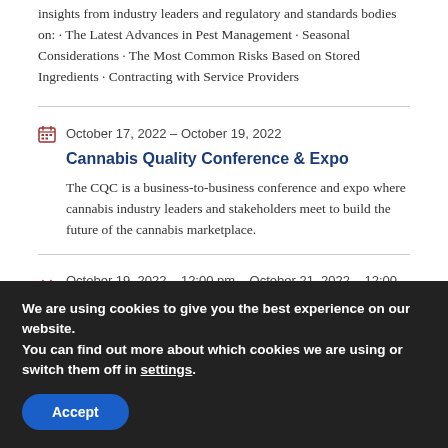insights from industry leaders and regulatory and standards bodies on: · The Latest Advances in Pest Management · Seasonal Considerations · The Most Common Risks Based on Stored Ingredients · Contracting with Service Providers
October 17, 2022 – October 19, 2022
Cannabis Quality Conference & Expo
The CQC is a business-to-business conference and expo where cannabis industry leaders and stakeholders meet to build the future of the cannabis marketplace.
October 19, 2022 – 12:00 pm – October 21, 2022 – 12:00 pm
We are using cookies to give you the best experience on our website.
You can find out more about which cookies we are using or switch them off in settings.